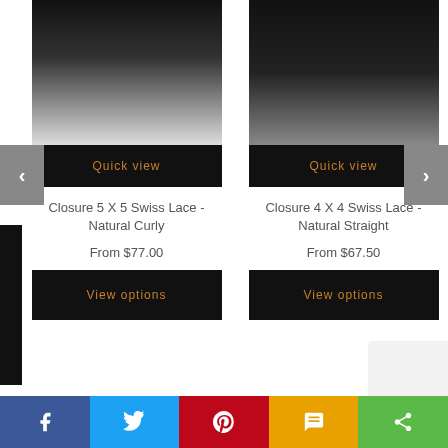[Figure (photo): Close-up photo of black curly hair piece / lace closure from above]
[Figure (photo): Close-up photo of black straight hair piece / lace closure hanging]
Quick view
Quick view
Closure 5 X 5 Swiss Lace - Natural Curly
From $77.00
View options
Closure 4 X 4 Swiss Lace - Natural Straight
From $67.50
View options